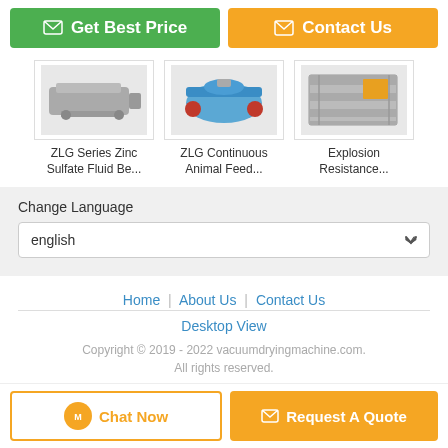[Figure (screenshot): Green 'Get Best Price' button with chat icon]
[Figure (screenshot): Orange 'Contact Us' button with envelope icon]
[Figure (photo): ZLG Series Zinc Sulfate Fluid Bed machine product image]
ZLG Series Zinc Sulfate Fluid Be...
[Figure (photo): ZLG Continuous Animal Feed machine product image]
ZLG Continuous Animal Feed...
[Figure (photo): Explosion Resistance machine product image]
Explosion Resistance...
Change Language
english
Home | About Us | Contact Us
Desktop View
Copyright © 2019 - 2022 vacuumdryingmachine.com. All rights reserved.
[Figure (screenshot): Orange 'Chat Now' button]
[Figure (screenshot): Orange 'Request A Quote' button with envelope icon]